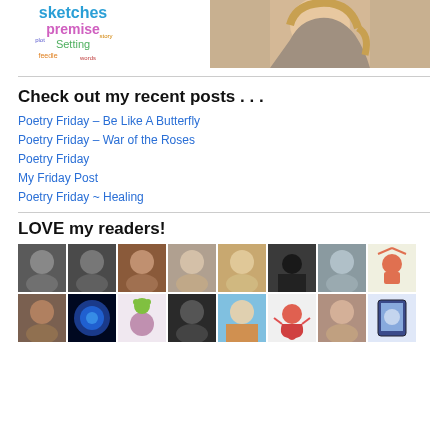[Figure (illustration): Word cloud image with words like sketches, premise, Setting visible in colorful text]
[Figure (photo): Partial photo of a woman with blonde wavy hair wearing a sleeveless top]
Check out my recent posts . . .
Poetry Friday – Be Like A Butterfly
Poetry Friday – War of the Roses
Poetry Friday
My Friday Post
Poetry Friday ~ Healing
LOVE my readers!
[Figure (photo): Grid of reader avatar profile pictures, 8 in top row and 8 in bottom row, mix of photos and illustrated avatars]